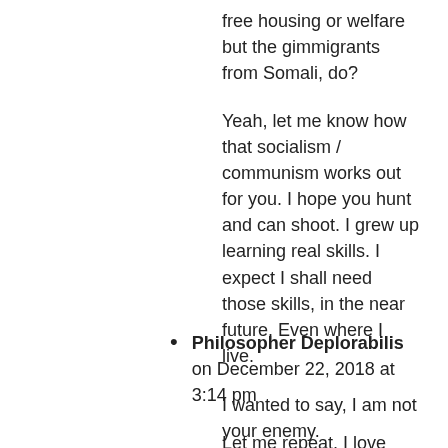free housing or welfare but the gimmigrants from Somali, do?
Yeah, let me know how that socialism / communism works out for you. I hope you hunt and can shoot. I grew up learning real skills. I expect I shall need those skills, in the near future. Even where I live.
Philosopher Deplorabilis on December 22, 2018 at 3:14 pm
I wanted to say, I am not your enemy.
Let me repeat, I love Maine and the people of Maine. They are hard working, no nonsense people.
Eventually Mainers may wake up and realize they are being exploited by politicians just like coloreds are exploited in Baltimore and Detroit. Those